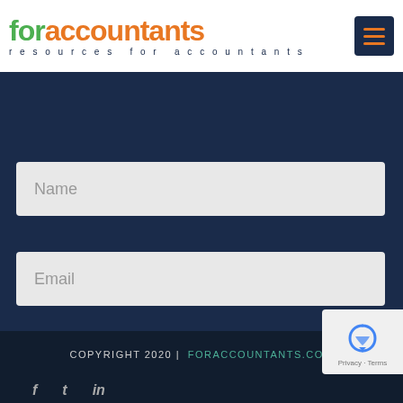[Figure (logo): foraccountants logo with green 'for' and orange 'accountants' text, tagline 'resources for accountants' in dark navy spaced letters]
Name
Email
SUBSCRIBE
COPYRIGHT 2020 | FORACCOUNTANTS.COM
[Figure (logo): reCAPTCHA badge with Privacy and Terms links]
f  t  in